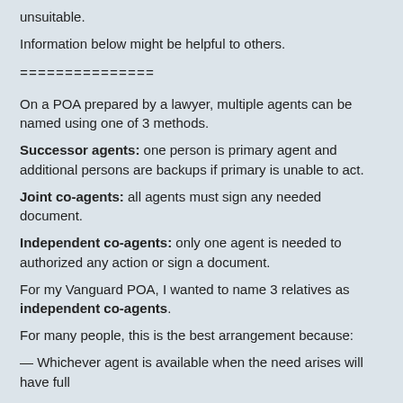unsuitable.
Information below might be helpful to others.
===============
On a POA prepared by a lawyer, multiple agents can be named using one of 3 methods.
Successor agents: one person is primary agent and additional persons are backups if primary is unable to act.
Joint co-agents: all agents must sign any needed document.
Independent co-agents: only one agent is needed to authorized any action or sign a document.
For my Vanguard POA, I wanted to name 3 relatives as independent co-agents.
For many people, this is the best arrangement because:
— Whichever agent is available when the need arises will have full